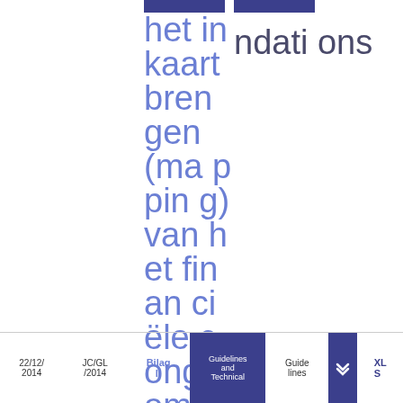het in kaart brengen (mapping) van het financiële conglomeraat (JC 2014 07
ndations
22/12/2014 | JC/GL/2014 | Bijlage: | Guidelines and Technical | Guidelines | [icon] | XLS